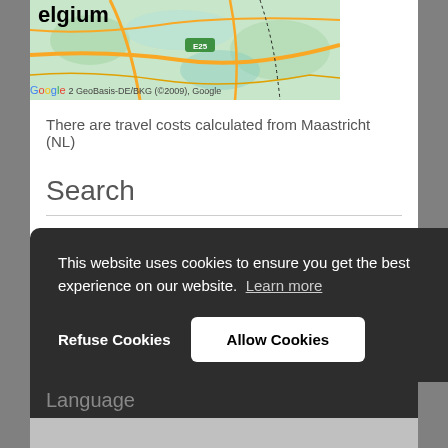[Figure (map): Partial map showing Belgium/Netherlands border region with road network, green terrain, E25 highway marker, Google logo and GeoBasis-DE/BKG (©2009), Google attribution. Title shows 'elgium' (Belgium partially cropped).]
There are travel costs calculated from Maastricht (NL)
Search
Search
This website uses cookies to ensure you get the best experience on our website.  Learn more
Refuse Cookies
Allow Cookies
Language